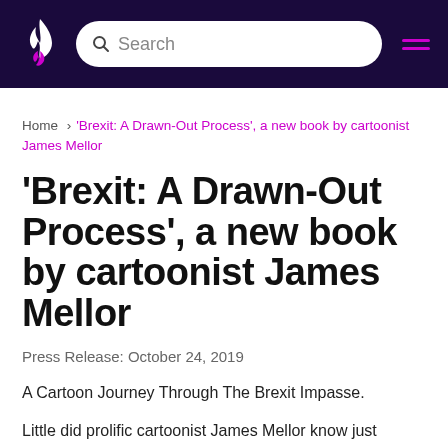Search
Home › 'Brexit: A Drawn-Out Process', a new book by cartoonist James Mellor
'Brexit: A Drawn-Out Process', a new book by cartoonist James Mellor
Press Release: October 24, 2019
A Cartoon Journey Through The Brexit Impasse.
Little did prolific cartoonist James Mellor know just